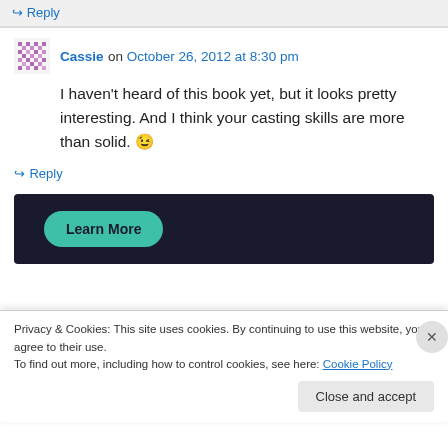↪ Reply
Cassie on October 26, 2012 at 8:30 pm
I haven't heard of this book yet, but it looks pretty interesting. And I think your casting skills are more than solid. 😉
↪ Reply
[Figure (screenshot): Dark banner with teal 'Learn More' pill button]
Privacy & Cookies: This site uses cookies. By continuing to use this website, you agree to their use.
To find out more, including how to control cookies, see here: Cookie Policy
Close and accept